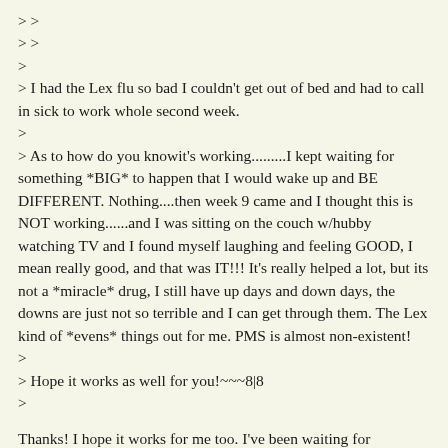> >
> >
>
> I had the Lex flu so bad I couldn't get out of bed and had to call in sick to work whole second week.
>
> As to how do you knowit's working.........I kept waiting for something *BIG* to happen that I would wake up and BE DIFFERENT. Nothing....then week 9 came and I thought this is NOT working......and I was sitting on the couch w/hubby watching TV and I found myself laughing and feeling GOOD, I mean really good, and that was IT!!! It's really helped a lot, but its not a *miracle* drug, I still have up days and down days, the downs are just not so terrible and I can get through them. The Lex kind of *evens* things out for me. PMS is almost non-existent!
>
> Hope it works as well for you!~~~8|8
>
Thanks! I hope it works for me too. I've been waiting for something *big* to happen too, in fact my friend just asked me how "it" was working and I didnt know how to answer her. I havent really noticed a big